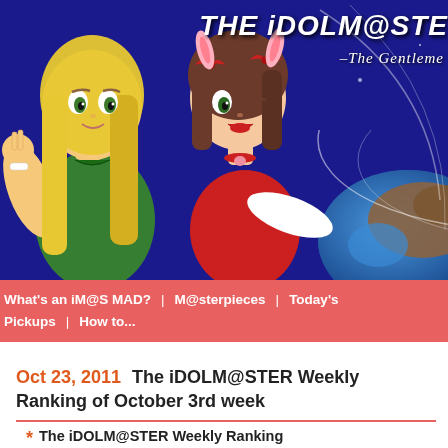[Figure (illustration): Website header banner with dark blue background, two anime-style female characters (one blonde in green outfit making peace sign, one brunette with red bows wearing red outfit), globe graphic on right side. Title text 'THE iDOLM@STE' and subtitle '-The Gentleme' visible in upper right.]
What's an iM@S MAD? | M@sterpieces | Today's Pickups | How to...
Oct 23, 2011  The iDOLM@STER Weekly Ranking of October 3rd week
The iDOLM@STER Weekly Ranking
We introduce the